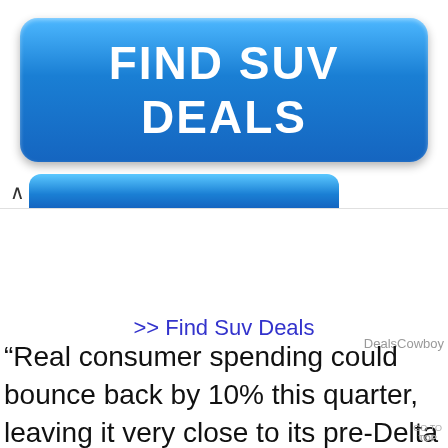[Figure (other): Blue rounded button with bold white text reading FIND SUV DEALS, with a blue tab bar below showing a caret/arrow and blue rounded tab shape]
>> Find Suv Deals
DealsCowboy
“Real consumer spending could bounce back by 10% this quarter, leaving it very close to its pre-Delta peak,” said Marco! Thieliant, a senior economist at Capit.